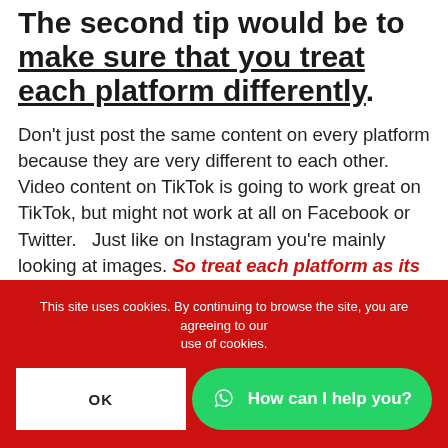The second tip would be to make sure that you treat each platform differently.
Don't just post the same content on every platform because they are very different to each other.  Video content on TikTok is going to work great on TikTok, but might not work at all on Facebook or Twitter.   Just like on Instagram you're mainly looking at images. So treat each platform as its own thing.
Don't go overboard with the amount of platforms that you use
This site uses cookies. By continuing to browse the site, you are agreeing to our use of cookies.